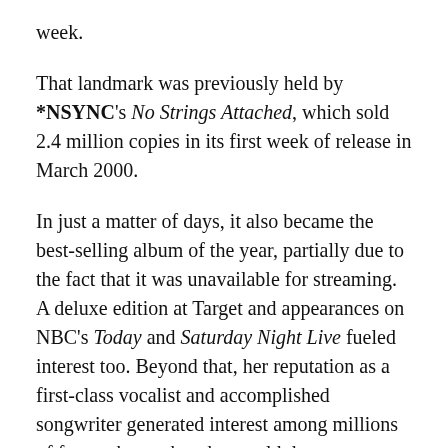week.
That landmark was previously held by *NSYNC's No Strings Attached, which sold 2.4 million copies in its first week of release in March 2000.
In just a matter of days, it also became the best-selling album of the year, partially due to the fact that it was unavailable for streaming. A deluxe edition at Target and appearances on NBC's Today and Saturday Night Live fueled interest too. Beyond that, her reputation as a first-class vocalist and accomplished songwriter generated interest among millions of fans to hear what she would do next.